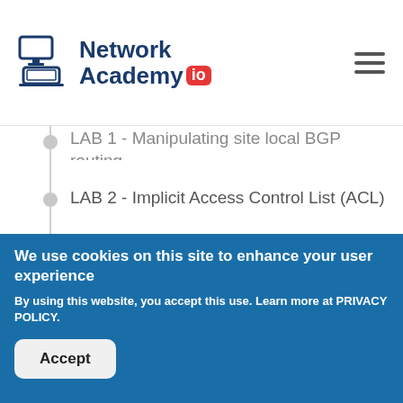Network Academy.io
LAB 1 - Manipulating site local BGP routing
LAB 2 - Implicit Access Control List (ACL)
LAB 3 - Explicit Access Control List (ACL)
LAB 4 - Traffic Policing
LAB 5 - Cisco SD-WAN QoS
We use cookies on this site to enhance your user experience
By using this website, you accept this use. Learn more at PRIVACY POLICY.
Accept